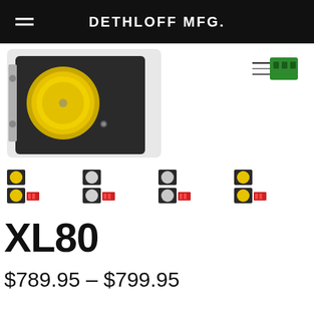DETHLOFF MFG.
[Figure (photo): Product photo of XL80 LED light bar with yellow lens, mounted on a bracket, with green wiring connector visible on the right.]
[Figure (photo): Four thumbnail images of the XL80 LED light product variants showing different configurations and lens colors.]
XL80
$789.95 – $799.95